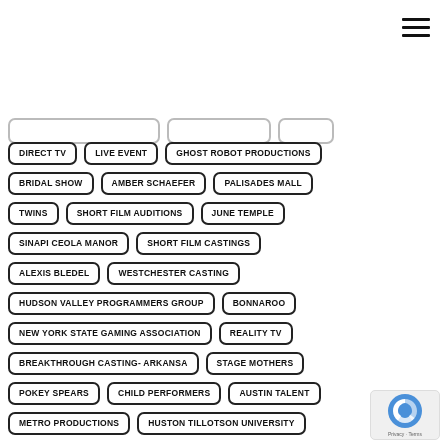DIRECT TV
LIVE EVENT
GHOST ROBOT PRODUCTIONS
BRIDAL SHOW
AMBER SCHAEFER
PALISADES MALL
TWINS
SHORT FILM AUDITIONS
JUNE TEMPLE
SINAPI CEOLA MANOR
SHORT FILM CASTINGS
ALEXIS BLEDEL
WESTCHESTER CASTING
HUDSON VALLEY PROGRAMMERS GROUP
BONNAROO
NEW YORK STATE GAMING ASSOCIATION
REALITY TV
BREAKTHROUGH CASTING- ARKANSA
STAGE MOTHERS
POKEY SPEARS
CHILD PERFORMERS
AUSTIN TALENT
METRO PRODUCTIONS
HUSTON TILLOTSON UNIVERSITY